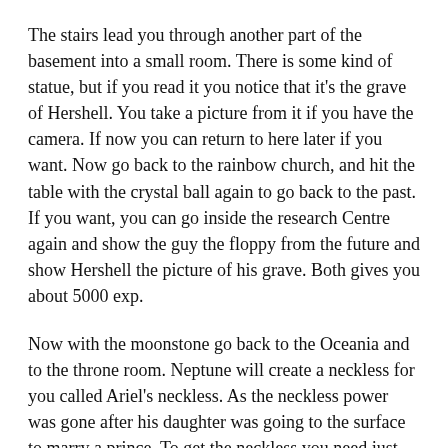The stairs lead you through another part of the basement into a small room. There is some kind of statue, but if you read it you notice that it's the grave of Hershell. You take a picture from it if you have the camera. If now you can return to here later if you want. Now go back to the rainbow church, and hit the table with the crystal ball again to go back to the past. If you want, you can go inside the research Centre again and show the guy the floppy from the future and show Hershell the picture of his grave. Both gives you about 5000 exp.
Now with the moonstone go back to the Oceania and to the throne room. Neptune will create a neckless for you called Ariel's neckless. As the neckless power was gone after his daughter was going to the surface to marry a prince. To get the neckless you need just one lvl up. The fastest way is to fight some dragons at dragon mountain.
As soon as possible you should equip the neckless and you are free to walk and talk to the mermaids for some quests and conversations. If you are ready you can go to the south of the